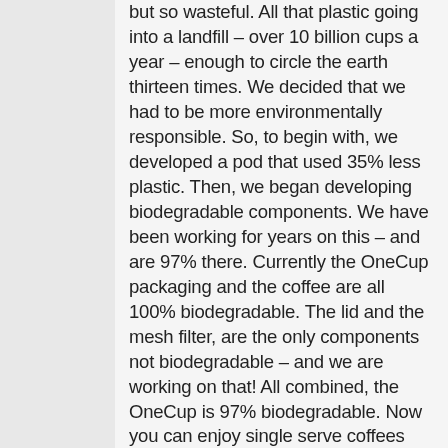but so wasteful. All that plastic going into a landfill – over 10 billion cups a year – enough to circle the earth thirteen times. We decided that we had to be more environmentally responsible. So, to begin with, we developed a pod that used 35% less plastic. Then, we began developing biodegradable components. We have been working for years on this – and are 97% there. Currently the OneCup packaging and the coffee are all 100% biodegradable. The lid and the mesh filter, are the only components not biodegradable – and we are working on that! All combined, the OneCup is 97% biodegradable. Now you can enjoy single serve coffees with a better conscience. A Truly Superior Coffee Great coffee has to start with great coffee beans. Now, everyone says this, but it is really true with us. We source only the very best quality Arabica coffee beans, grown high in the mountains and hand-picked for perfect ripeness. We are very, very picky